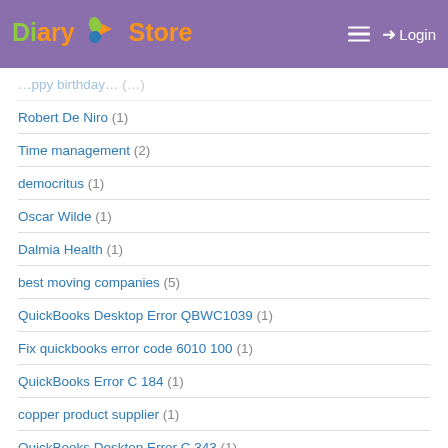Diary Store — Login
Robert De Niro (1)
Time management (2)
democritus (1)
Oscar Wilde (1)
Dalmia Health (1)
best moving companies (5)
QuickBooks Desktop Error QBWC1039 (1)
Fix quickbooks error code 6010 100 (1)
QuickBooks Error C 184 (1)
copper product supplier (1)
QuickBooks Desktop Error C 343 (1)
QuickBooks Error 80070057 Parameter Incorrect